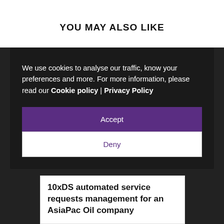YOU MAY ALSO LIKE
We use cookies to analyse our traffic, know your preferences and more. For more information, please read our Cookie policy | Privacy Policy
Accept
Deny
10xDS automated service requests management for an AsiaPac Oil company